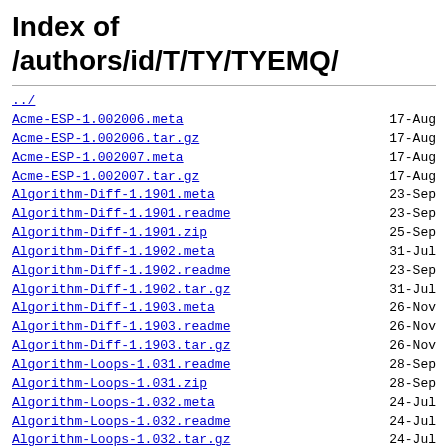Index of /authors/id/T/TY/TYEMQ/
| Name | Date |
| --- | --- |
| ../ |  |
| Acme-ESP-1.002006.meta | 17-Aug |
| Acme-ESP-1.002006.tar.gz | 17-Aug |
| Acme-ESP-1.002007.meta | 17-Aug |
| Acme-ESP-1.002007.tar.gz | 17-Aug |
| Algorithm-Diff-1.1901.meta | 23-Sep |
| Algorithm-Diff-1.1901.readme | 23-Sep |
| Algorithm-Diff-1.1901.zip | 25-Sep |
| Algorithm-Diff-1.1902.meta | 31-Jul |
| Algorithm-Diff-1.1902.readme | 23-Sep |
| Algorithm-Diff-1.1902.tar.gz | 31-Jul |
| Algorithm-Diff-1.1903.meta | 26-Nov |
| Algorithm-Diff-1.1903.readme | 26-Nov |
| Algorithm-Diff-1.1903.tar.gz | 26-Nov |
| Algorithm-Loops-1.031.readme | 28-Sep |
| Algorithm-Loops-1.031.zip | 28-Sep |
| Algorithm-Loops-1.032.meta | 24-Jul |
| Algorithm-Loops-1.032.readme | 24-Jul |
| Algorithm-Loops-1.032.tar.gz | 24-Jul |
| CHECKSUMS | 22-Nov |
| Data-Diver-1.0002.meta | 26-Jul |
| Data-Diver-1.0002.tar.gz | 26-Jul |